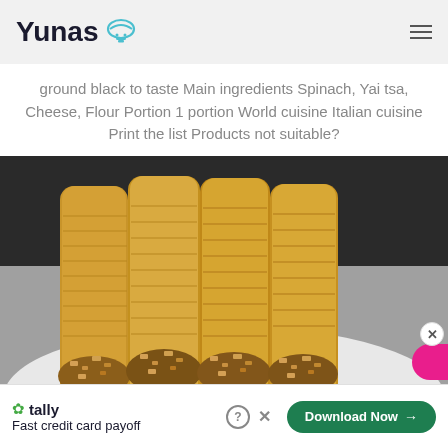Yunas
ground black to taste Main ingredients Spinach, Yai tsa, Cheese, Flour Portion 1 portion World cuisine Italian cuisine Print the list Products not suitable?
[Figure (photo): Photograph of crispy rolled pastries (similar to cannoli or phyllo rolls) filled with chopped nuts, arranged on a white plate. The rolls are golden-brown and layered, displayed from a close frontal angle.]
[Figure (infographic): Advertisement bar at the bottom: Tally app ad with green 'Download Now' button and close/help icons. Also shows a pink circular button on right side with a close X button above it.]